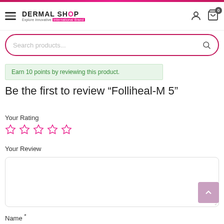DERMAL SHOP - Explore Innovative International Brand
Search products...
Earn 10 points by reviewing this product.
Be the first to review “Folliheal-M 5”
Your Rating
Your Review
Name *